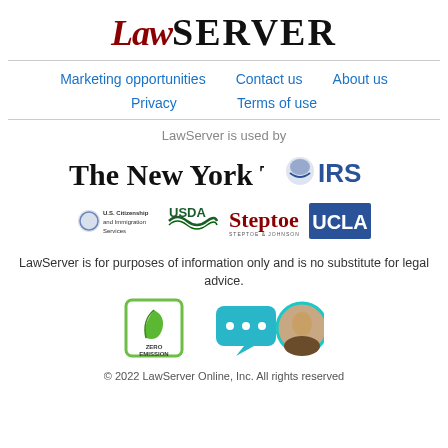LawSERVER
Marketing opportunities
Contact us
About us
Privacy
Terms of use
LawServer is used by
[Figure (logo): The New York Times logo in blackletter font]
[Figure (logo): IRS logo with eagle emblem and bold text]
[Figure (logo): U.S. Citizenship and Immigration Services logo]
[Figure (logo): USDA logo with green mountain and water design]
[Figure (logo): Steptoe & Johnson LLP logo]
[Figure (logo): UCLA logo in blue box with white text]
LawServer is for purposes of information only and is no substitute for legal advice.
[Figure (illustration): Zero Emission badge with green leaf icon]
[Figure (illustration): Teal chat bubble with ellipsis and circular person photo]
© 2022 LawServer Online, Inc. All rights reserved